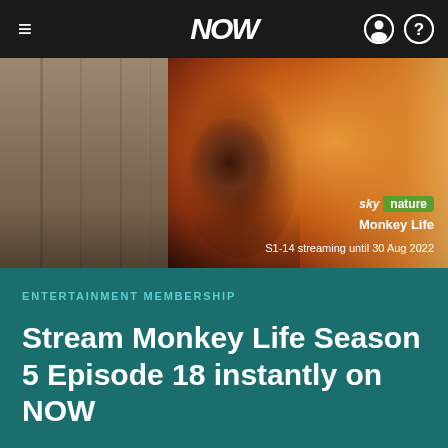NOW
[Figure (photo): Hero image showing an orangutan (Monkey Life) with Sky Nature branding. Left portion shows wooden texture, right shows close-up of orangutan with orange fur against warm background. Sky Nature badge and Monkey Life title overlay in bottom-right corner.]
ENTERTAINMENT MEMBERSHIP
Stream Monkey Life Season 5 Episode 18 instantly on NOW